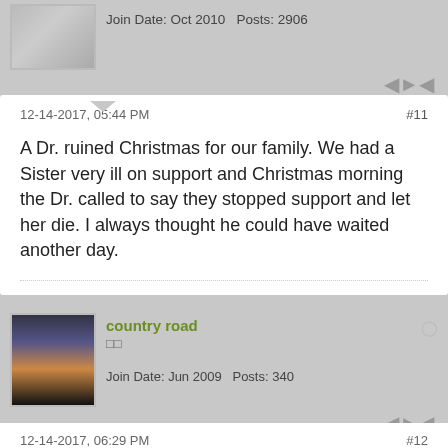Join Date: Oct 2010   Posts: 2906
12-14-2017, 05:44 PM  #11
A Dr. ruined Christmas for our family. We had a Sister very ill on support and Christmas morning the Dr. called to say they stopped support and let her die. I always thought he could have waited another day.
country road
Join Date: Jun 2009   Posts: 340
12-14-2017, 06:29 PM  #12
A couple of days before the big day, I'll go out in my woods and cut a small cedar or pine and the wife and I will decorate it with a string of lights and some red bows---quick and simple. On the gate where you enter my property, I'll hang some sort of decoration, sometimes a "Bah, Humbug" wreath. We will